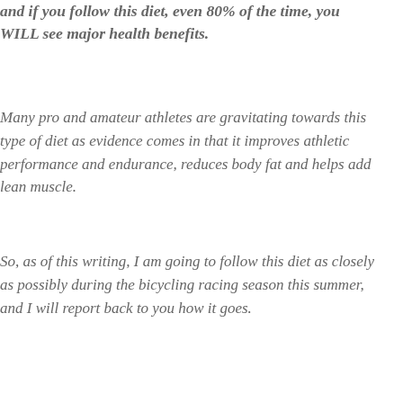and if you follow this diet, even 80% of the time, you WILL see major health benefits.
Many pro and amateur athletes are gravitating towards this type of diet as evidence comes in that it improves athletic performance and endurance, reduces body fat and helps add lean muscle.
So, as of this writing, I am going to follow this diet as closely as possibly during the bicycling racing season this summer, and I will report back to you how it goes.